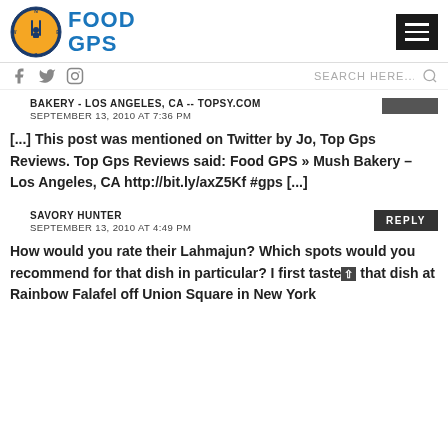Food GPS
BAKERY - LOS ANGELES, CA -- TOPSY.COM
SEPTEMBER 13, 2010 AT 7:36 PM
[...] This post was mentioned on Twitter by Jo, Top Gps Reviews. Top Gps Reviews said: Food GPS » Mush Bakery – Los Angeles, CA http://bit.ly/axZ5Kf #gps [...]
SAVORY HUNTER
SEPTEMBER 13, 2010 AT 4:49 PM
How would you rate their Lahmajun? Which spots would you recommend for that dish in particular? I first tasted that dish at Rainbow Falafel off Union Square in New York